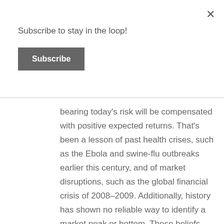Subscribe to stay in the loop!
Subscribe
bearing today's risk will be compensated with positive expected returns. That's been a lesson of past health crises, such as the Ebola and swine-flu outbreaks earlier this century, and of market disruptions, such as the global financial crisis of 2008–2009. Additionally, history has shown no reliable way to identify a market peak or bottom. These beliefs argue against making market moves based on fear or speculation, even as difficult and traumatic events transpire.